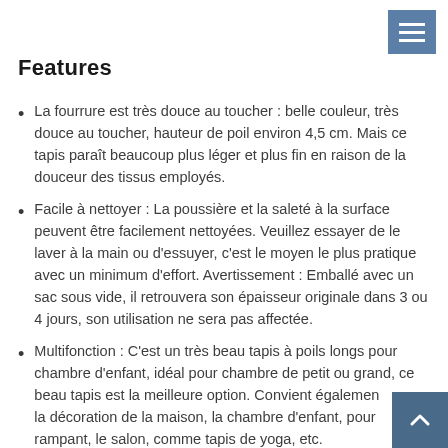Features
La fourrure est très douce au toucher : belle couleur, très douce au toucher, hauteur de poil environ 4,5 cm. Mais ce tapis paraît beaucoup plus léger et plus fin en raison de la douceur des tissus employés.
Facile à nettoyer : La poussière et la saleté à la surface peuvent être facilement nettoyées. Veuillez essayer de le laver à la main ou d'essuyer, c'est le moyen le plus pratique avec un minimum d'effort. Avertissement : Emballé avec un sac sous vide, il retrouvera son épaisseur originale dans 3 ou 4 jours, son utilisation ne sera pas affectée.
Multifonction : C'est un très beau tapis à poils longs pour chambre d'enfant, idéal pour chambre de petit ou grand, ce beau tapis est la meilleure option. Convient également la décoration de la maison, la chambre d'enfant, pour rampant, le salon, comme tapis de yoga, etc.